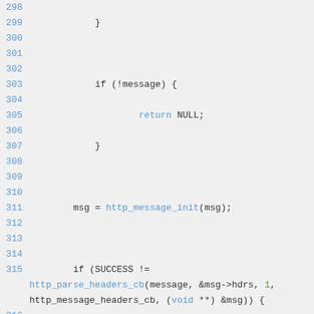Source code listing lines 298-320, C code with http message parsing
[Figure (screenshot): C source code viewer showing lines 298-320 with syntax highlighting. Blue line numbers on left, blue keywords and function names, green numeric literals, dark code on light gray background.]